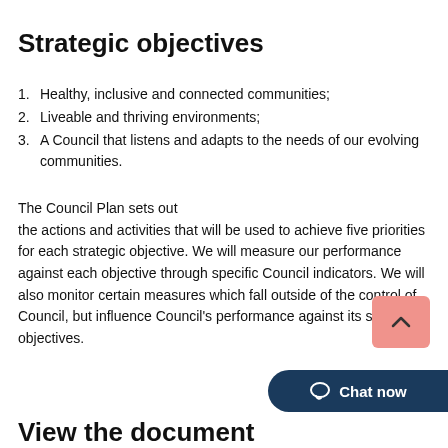Strategic objectives
1. Healthy, inclusive and connected communities;
2. Liveable and thriving environments;
3. A Council that listens and adapts to the needs of our evolving communities.
The Council Plan sets out the actions and activities that will be used to achieve five priorities for each strategic objective. We will measure our performance against each objective through specific Council indicators. We will also monitor certain measures which fall outside of the control of Council, but influence Council's performance against its strategic objectives.
View the document